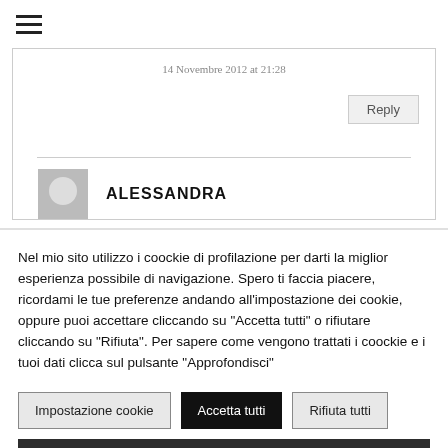[Figure (other): Hamburger menu icon (three horizontal lines)]
14 Novembre 2012 at 21:28
Reply
ALESSANDRA
Nel mio sito utilizzo i coockie di profilazione per darti la miglior esperienza possibile di navigazione. Spero ti faccia piacere, ricordami le tue preferenze andando all'impostazione dei cookie, oppure puoi accettare cliccando su "Accetta tutti" o rifiutare cliccando su "Rifiuta". Per sapere come vengono trattati i coockie e i tuoi dati clicca sul pulsante "Approfondisci"
Impostazione cookie
Accetta tutti
Rifiuta tutti
Approfondisci